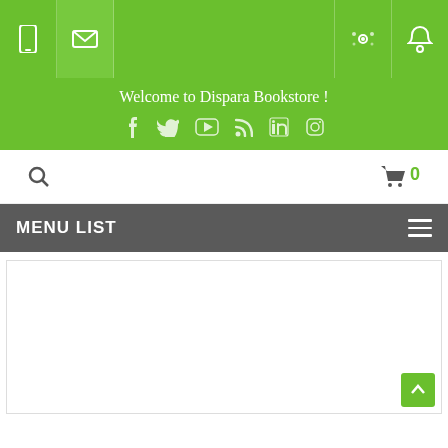[Figure (screenshot): Top navigation bar with green background showing mobile and email icons on the left, settings and user icons on the right]
Welcome to Dispara Bookstore !
[Figure (infographic): Social media icons row: Facebook, Twitter, YouTube, RSS, LinkedIn, Instagram on green background]
[Figure (infographic): Search bar row with magnifying glass icon on left and shopping cart with count 0 on right]
MENU LIST
[Figure (screenshot): Empty white content area with a green back-to-top button in the bottom right corner]